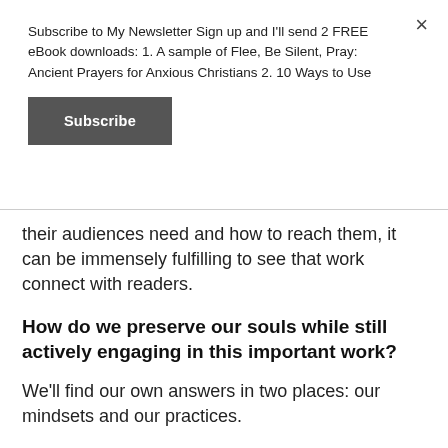Subscribe to My Newsletter Sign up and I'll send 2 FREE eBook downloads: 1. A sample of Flee, Be Silent, Pray: Ancient Prayers for Anxious Christians 2. 10 Ways to Use
Subscribe
their audiences need and how to reach them, it can be immensely fulfilling to see that work connect with readers.
How do we preserve our souls while still actively engaging in this important work?
We'll find our own answers in two places: our mindsets and our practices.